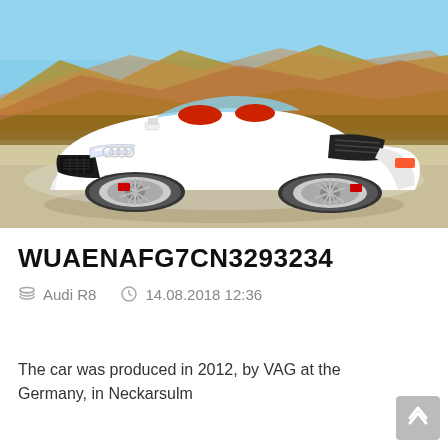[Figure (photo): White Audi R8 convertible sports car photographed outdoors on a desert road with rocky hills in the background. The car has red interior seats visible, large black grille, distinctive side blades, and multi-spoke alloy wheels with red brake calipers.]
WUAENAFG7CN3293234
Audi R8    14.08.2018 12:36
The car was produced in 2012, by VAG at the Germany, in Neckarsulm